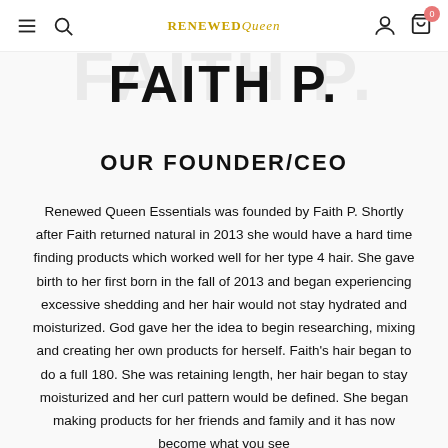RENEWED Queen — navigation bar with menu, search, logo, account, and cart icons
FAITH P.
OUR FOUNDER/CEO
Renewed Queen Essentials was founded by Faith P. Shortly after Faith returned natural in 2013 she would have a hard time finding products which worked well for her type 4 hair. She gave birth to her first born in the fall of 2013 and began experiencing excessive shedding and her hair would not stay hydrated and moisturized. God gave her the idea to begin researching, mixing and creating her own products for herself. Faith's hair began to do a full 180. She was retaining length, her hair began to stay moisturized and her curl pattern would be defined. She began making products for her friends and family and it has now become what you see